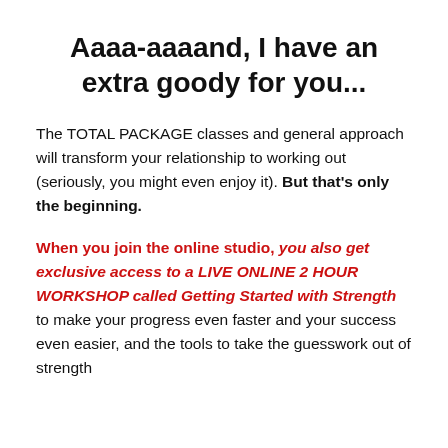Aaaa-aaaand, I have an extra goody for you...
The TOTAL PACKAGE classes and general approach will transform your relationship to working out (seriously, you might even enjoy it). But that's only the beginning.
When you join the online studio, you also get exclusive access to a LIVE ONLINE 2 HOUR WORKSHOP called Getting Started with Strength to make your progress even faster and your success even easier, and the tools to take the guesswork out of strength